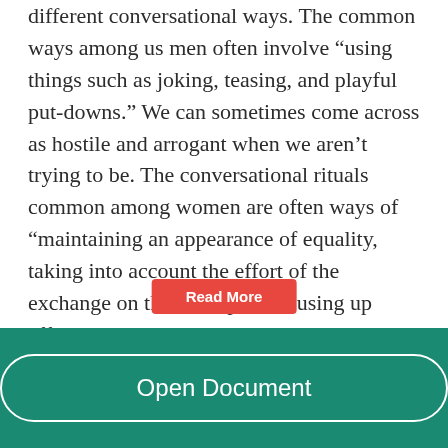different conversational ways. The common ways among us men often involve “using things such as joking, teasing, and playful put-downs.” We can sometimes come across as hostile and arrogant when we aren’t trying to be. The conversational rituals common among women are often ways of “maintaining an appearance of equality, taking into account the effort of the exchange on the other person, using up effort to downplay the speaker’s authority so they can get the job done without flexing their muscles in an obvious way.” Women use conversational … to avoid appearing